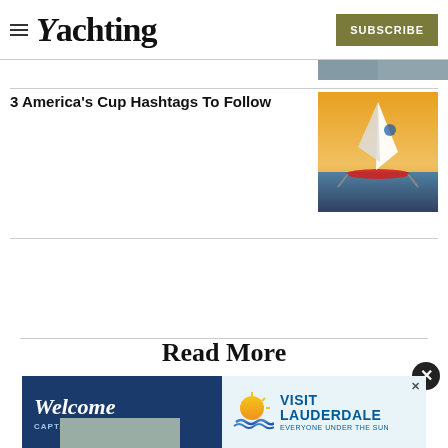Yachting — SUBSCRIBE
[Figure (photo): Top partial image strip on right side]
3 America's Cup Hashtags To Follow
[Figure (photo): America's Cup racing catamaran at sunset, foiling on water]
Read More
[Figure (photo): Welcome Captains & First Mates — Visit Lauderdale advertisement banner]
[Figure (photo): Bottom partial image of person]